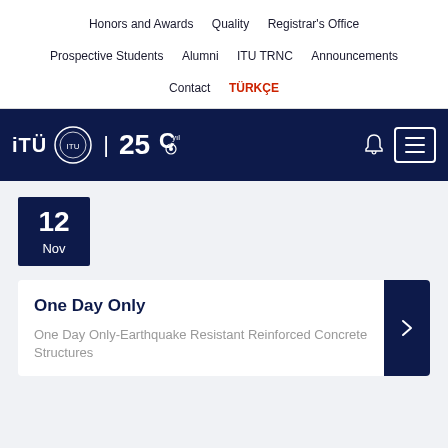Honors and Awards   Quality   Registrar's Office   Prospective Students   Alumni   ITU TRNC   Announcements   Contact   TÜRKÇE
[Figure (logo): ITU (İTÜ) university logo with 250th anniversary badge on dark navy header bar with hamburger menu button]
12 Nov
One Day Only
One Day Only-Earthquake Resistant Reinforced Concrete Structures